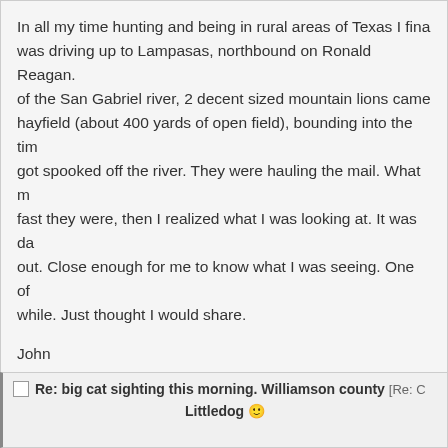In all my time hunting and being in rural areas of Texas I finally was driving up to Lampasas, northbound on Ronald Reagan. of the San Gabriel river, 2 decent sized mountain lions came hayfield (about 400 yards of open field), bounding into the tim got spooked off the river. They were hauling the mail. What m fast they were, then I realized what I was looking at. It was da out. Close enough for me to know what I was seeing. One of while. Just thought I would share.
John
Re: big cat sighting this morning. Williamson county [Re: C
Littledog